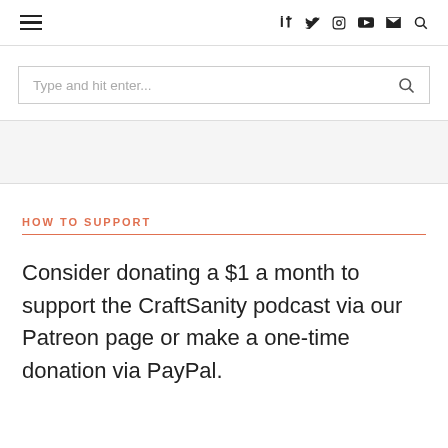≡  f  y  [instagram]  [youtube]  [mail]  [search]
Type and hit enter...
HOW TO SUPPORT
Consider donating a $1 a month to support the CraftSanity podcast via our Patreon page or make a one-time donation via PayPal.